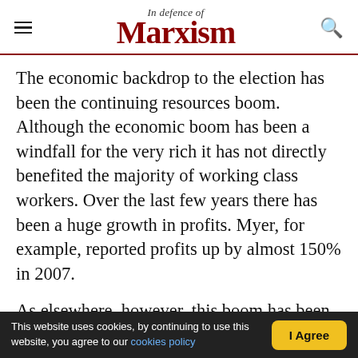In Defence of Marxism
The economic backdrop to the election has been the continuing resources boom. Although the economic boom has been a windfall for the very rich it has not directly benefited the majority of working class workers. Over the last few years there has been a huge growth in profits. Myer, for example, reported profits up by almost 150% in 2007.
As elsewhere, however, this boom has been at the expense of the working class. It has been partially based on squeezing every last ounce of labor power out of the working class through speed-ups and cuts in benefits.
This website uses cookies, by continuing to use this website, you agree to our cookies policy | I Agree